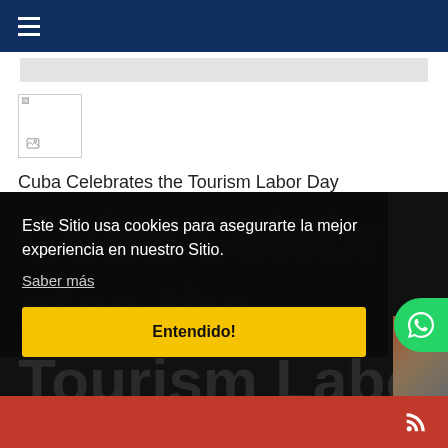Navigation bar with hamburger menu
[Figure (screenshot): Broken image placeholder thumbnail]
Cuba Celebrates the Tourism Labor Day
👍 👎 ⚠
[Figure (screenshot): Social icons: home, RSS, search]
Me gusta 1 (blue Facebook-style button)
...mentar
Cuba Celebrates the Tourism Labor Day (watermark in dark background)
Este Sitio usa cookies para asegurarte la mejor experiencia en nuestro Sitio. Saber más
Entendido!